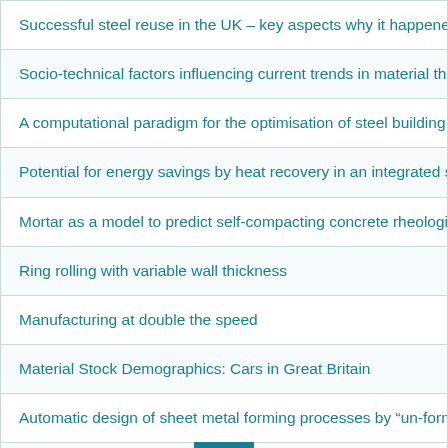Successful steel reuse in the UK – key aspects why it happened
Socio-technical factors influencing current trends in material throu…
A computational paradigm for the optimisation of steel building str…
Potential for energy savings by heat recovery in an integrated stee…
Mortar as a model to predict self-compacting concrete rheological…
Ring rolling with variable wall thickness
Manufacturing at double the speed
Material Stock Demographics: Cars in Great Britain
Automatic design of sheet metal forming processes by "un-forming…
A multi-method approach for analysing the potential employment i…
Parametric Toolpath Design in Metal Spinning